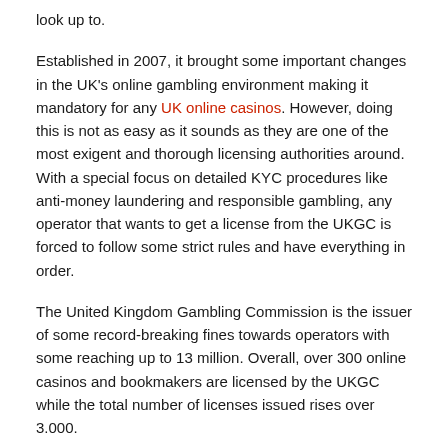look up to.
Established in 2007, it brought some important changes in the UK's online gambling environment making it mandatory for any UK online casinos. However, doing this is not as easy as it sounds as they are one of the most exigent and thorough licensing authorities around. With a special focus on detailed KYC procedures like anti-money laundering and responsible gambling, any operator that wants to get a license from the UKGC is forced to follow some strict rules and have everything in order.
The United Kingdom Gambling Commission is the issuer of some record-breaking fines towards operators with some reaching up to 13 million. Overall, over 300 online casinos and bookmakers are licensed by the UKGC while the total number of licenses issued rises over 3.000.
Malta Gaming Authority
Malta is seen by most industry professionals as the